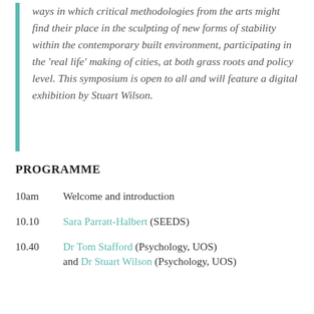ways in which critical methodologies from the arts might find their place in the sculpting of new forms of stability within the contemporary built environment, participating in the 'real life' making of cities, at both grass roots and policy level. This symposium is open to all and will feature a digital exhibition by Stuart Wilson.
PROGRAMME
10am    Welcome and introduction
10.10    Sara Parratt-Halbert (SEEDS)
10.40    Dr Tom Stafford (Psychology, UOS) and Dr Stuart Wilson (Psychology, UOS)